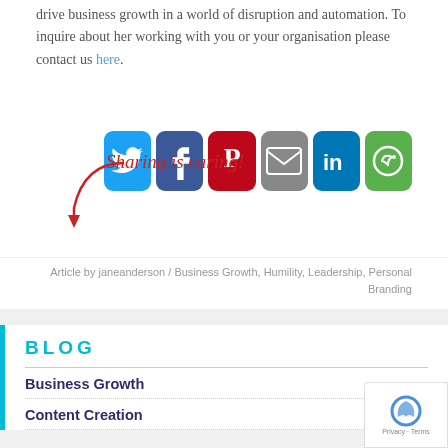drive business growth in a world of disruption and automation. To inquire about her working with you or your organisation please contact us here.
[Figure (infographic): Sharing is caring! social sharing buttons for Twitter, Facebook, Pinterest, Email, LinkedIn, and More (green circle-arrow icon)]
Article by janeanderson / Business Growth, Humility, Leadership, Personal Branding
BLOG
Business Growth
Content Creation